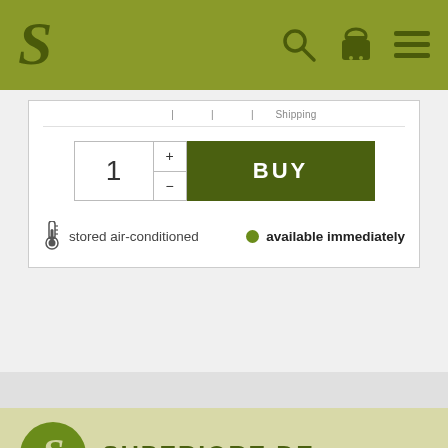S [logo] [search icon] [cart icon] [menu icon]
[Figure (screenshot): Product buy widget with quantity selector showing '1' with + and - buttons, and a dark olive green BUY button]
stored air-conditioned
● available immediately
[Figure (logo): Superiore.de circular logo with stylized S on olive green background]
SUPERIORE.DE
► Company Profile
► Responsibility and Sustainability
► Careers
►